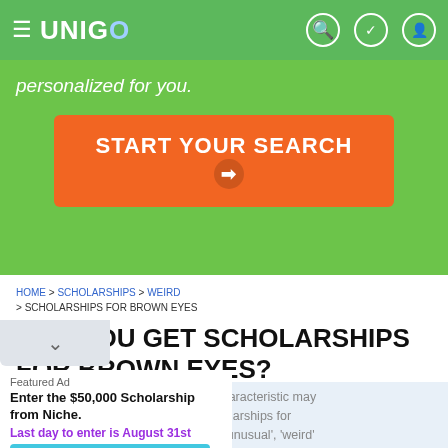UNIGO
personalized for you.
START YOUR SEARCH →
HOME > SCHOLARSHIPS > WEIRD > SCHOLARSHIPS FOR BROWN EYES
CAN YOU GET SCHOLARSHIPS FOR BROWN EYES?
If you have brown eyes, this unique characteristic may help you get scholarship awards. Scholarships for brown eyes fall under the category of 'unusual', 'weird' and even, 'no brainers'.
Like other awards, they aim to offset the cost of college.
Featured Ad
Enter the $50,000 Scholarship from Niche.
Last day to enter is August 31st
APPLY NOW!